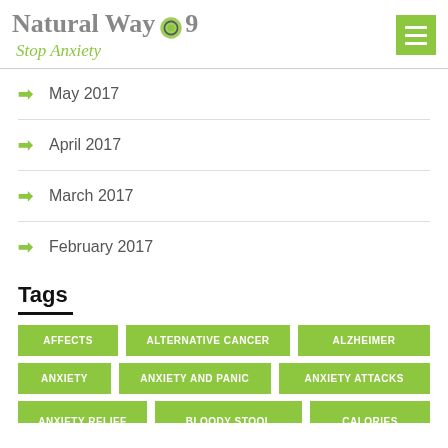Natural Way Stop Anxiety
May 2017
April 2017
March 2017
February 2017
Tags
AFFECTS | ALTERNATIVE CANCER | ALZHEIMER | ANXIETY | ANXIETY AND PANIC | ANXIETY ATTACKS | ANXIETY RELIEF | BLOODY STOOL | CALORIES